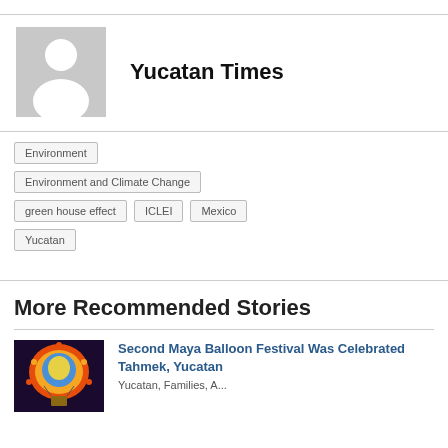[Figure (illustration): Gray placeholder avatar with silhouette of a person (head and shoulders) in white]
Yucatan Times
Environment
Environment and Climate Change
green house effect
ICLEI
Mexico
Yucatan
More Recommended Stories
[Figure (photo): Colorful illustration of a Maya hot air balloon with decorative imagery]
Second Maya Balloon Festival Was Celebrated Tahmek, Yucatan